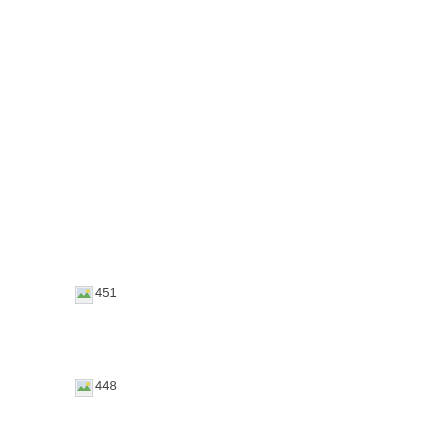[Figure (other): Broken image placeholder with label '451']
[Figure (other): Broken image placeholder with label '448']